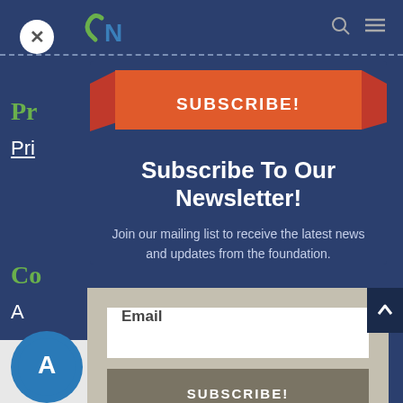[Figure (screenshot): Website screenshot showing a newsletter subscription modal popup over a dark navy blue background page. The modal contains an orange ribbon banner with 'SUBSCRIBE!' text, a headline 'Subscribe To Our Newsletter!', descriptive text, an email input field, and a subscribe button. The background page shows partial text including 'P', 'Pri', 'C', 'A'. There is a close button (X) in the top-left and navigation icons top-right.]